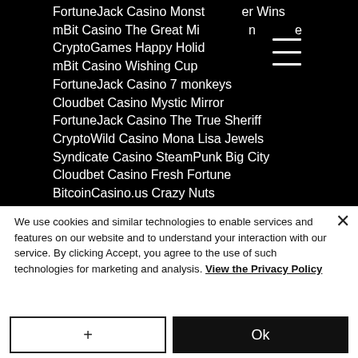FortuneJack Casino Monster Wins
mBit Casino The Great Mine
CryptoGames Happy Holiday
mBit Casino Wishing Cup
FortuneJack Casino 7 monkeys
Cloudbet Casino Mystic Mirror
FortuneJack Casino The True Sheriff
CryptoWild Casino Mona Lisa Jewels
Syndicate Casino SteamPunk Big City
Cloudbet Casino Fresh Fortune
BitcoinCasino.us Crazy Nuts
Bitcasino.io Exotic Fruit Deluxe
We use cookies and similar technologies to enable services and features on our website and to understand your interaction with our service. By clicking Accept, you agree to the use of such technologies for marketing and analysis. View the Privacy Policy
+ | Ok